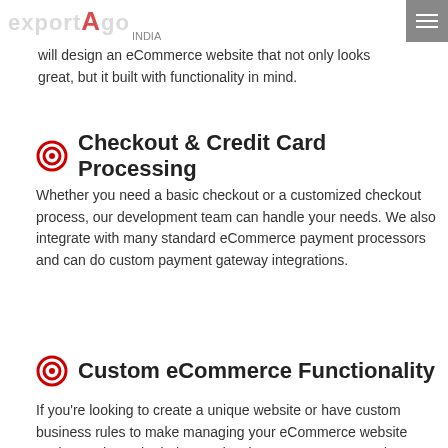ExportAgo India
Starting with a blank white page, we go through a full custom design and branding process. Our creative team will design an eCommerce website that not only looks great, but it built with functionality in mind.
Checkout & Credit Card Processing
Whether you need a basic checkout or a customized checkout process, our development team can handle your needs. We also integrate with many standard eCommerce payment processors and can do custom payment gateway integrations.
Custom eCommerce Functionality
If you're looking to create a unique website or have custom business rules to make managing your eCommerce website easier, we have the in-house development team to stand